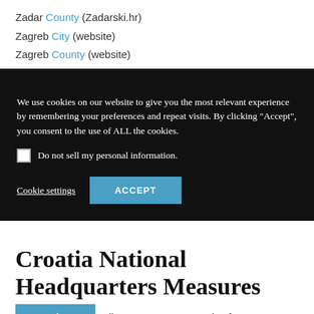Zadar County (Zadarski.hr)
Zagreb City (website)
Zagreb County (website)
Croatia Health Updates
We use cookies on our website to give you the most relevant experience by remembering your preferences and repeat visits. By clicking “Accept”, you consent to the use of ALL the cookies.
Do not sell my personal information.
Cookie settings  ACCEPT
Croatia National Headquarters Measures
Translate »  discos, restaurants and cafes may